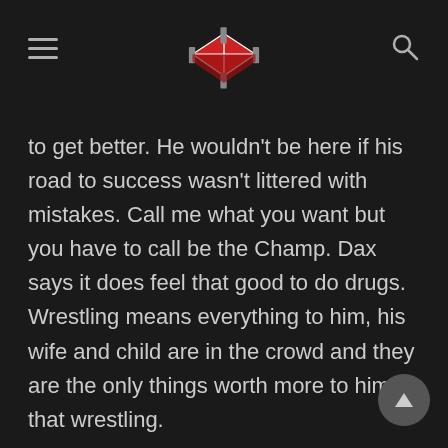[Wrestling site logo with hamburger menu and search icon]
to get better. He wouldn't be here if his road to success wasn't littered with mistakes. Call me what you want but you have to call be the Champ. Dax says it does feel that good to do drugs. Wrestling means everything to him, his wife and child are in the crowd and they are the only things worth more to him that wrestling.
Dax says if you are from a different company, Finlay, come out here and let me kick your ass. Punk says the best wrestling in the world are from NJPW. He is standing in the ring with two